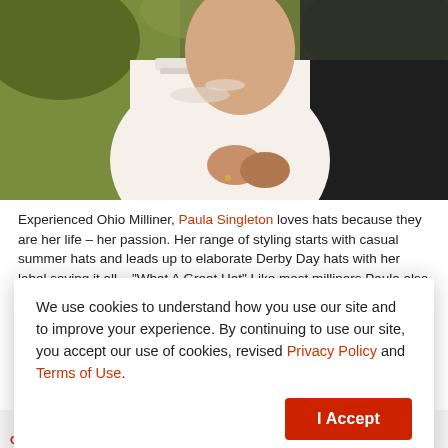[Figure (photo): Wedding couple: woman in white lace strapless gown, man in dark suit, embracing, outdoor greenery background]
Experienced Ohio Milliner, Paula Singleton loves hats because they are her life – her passion. Her range of styling starts with casual summer hats and leads up to elaborate Derby Day hats with her label saying it all – "What A Great Hat" Like most milliners Paula also
We use cookies to understand how you use our site and to improve your experience. By continuing to use our site, you accept our use of cookies, revised Privacy Policy and Terms of Use.
I Accept
CROWN HEADBAND